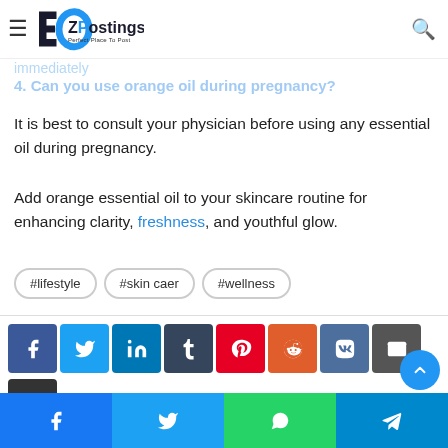EZPostings — Perfect Place To Post
immediately
4. Can you use orange oil during pregnancy?
It is best to consult your physician before using any essential oil during pregnancy.
Add orange essential oil to your skincare routine for enhancing clarity, freshness, and youthful glow.
#lifestyle
#skin caer
#wellness